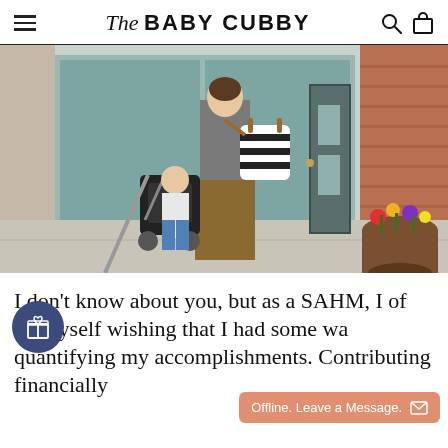The BABY CUBBY
[Figure (photo): A woman with a black-and-white striped bag over her shoulder pushes a stroller with a child on a city sidewalk. Flowers in a barrel planter are visible to the right.]
I don't know about you, but as a SAHM, I often find myself wishing that I had some way of quantifying my accomplishments. Contributing financially